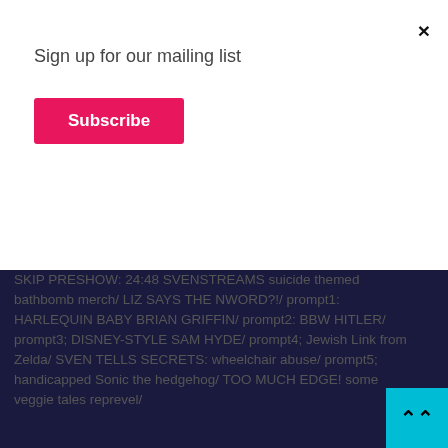Sign up for our mailing list
Subscribe
[Figure (illustration): Members only post image with 'MEMBERS ONLY POST / SUBSCRIBE to UNLOCK' text overlay, featuring a cartoon character on a grey background with a blue striped left sidebar.]
SVENSTREAMS 'n CHILL S01E04
SKIP PRESHOW: 24:48 SVENSTREAMS suicide themed bathbomb merch/ LIZ SAYS THE NWORD?!/ prompt1: HARLEQUIN BABY BRIAN GRIFFIN/ prompt2: BBW HITLER/ prompt3; DISNEY-STYLE SAM HYDE/ prompt4; Jewish Link from Zelda/ SVEN TELLS SECRETS: wheelchair abuse/ prompt5; handicapped Sonic the hedgehog/ TOO MUCH EDGE! some veggie tales reprevel/